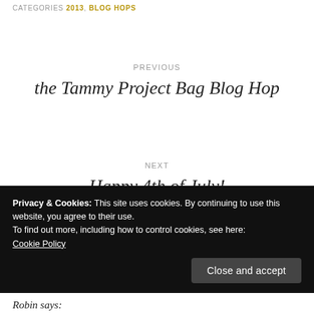CATEGORIES 2013, BLOG HOPS
PREVIOUS
the Tammy Project Bag Blog Hop
NEXT
Happy 4th of July!
Privacy & Cookies: This site uses cookies. By continuing to use this website, you agree to their use.
To find out more, including how to control cookies, see here:
Cookie Policy
Close and accept
Robin says: